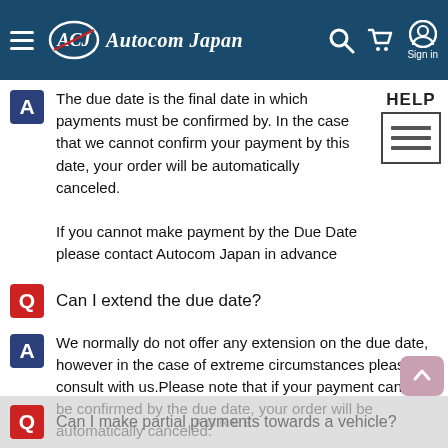Autocom Japan
The due date is the final date in which payments must be confirmed by. In the case that we cannot confirm your payment by this date, your order will be automatically canceled.
If you cannot make payment by the Due Date please contact Autocom Japan in advance
Q: Can I extend the due date?
A: We normally do not offer any extension on the due date, however in the case of extreme circumstances please consult with us.Please note that if your payment cannot be confirmed by the due date, your order will be automatically canceled.
In the case a partial payment has been made Autocom Japan reserves the right to keep a portion of this as a restocking fee.
Q: Can I make partial payments towards a vehicle?